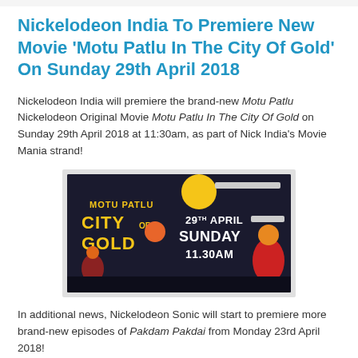Nickelodeon India To Premiere New Movie 'Motu Patlu In The City Of Gold' On Sunday 29th April 2018
Nickelodeon India will premiere the brand-new Motu Patlu Nickelodeon Original Movie Motu Patlu In The City Of Gold on Sunday 29th April 2018 at 11:30am, as part of Nick India's Movie Mania strand!
[Figure (screenshot): Promotional image for Motu Patlu In The City Of Gold movie premiere showing animated characters and text reading '29TH APRIL SUNDAY 11.30AM' with yellow moon and dark background]
In additional news, Nickelodeon Sonic will start to premiere more brand-new episodes of Pakdam Pakdai from Monday 23rd April 2018!